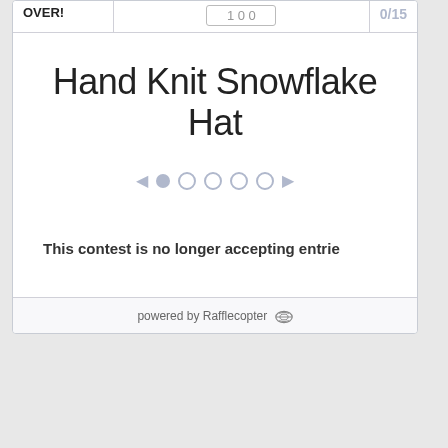OVER!
Hand Knit Snowflake Hat
[Figure (other): Image carousel navigation dots with left and right arrows, showing 5 dots (first filled, rest outlined)]
This contest is no longer accepting entries
powered by Rafflecopter